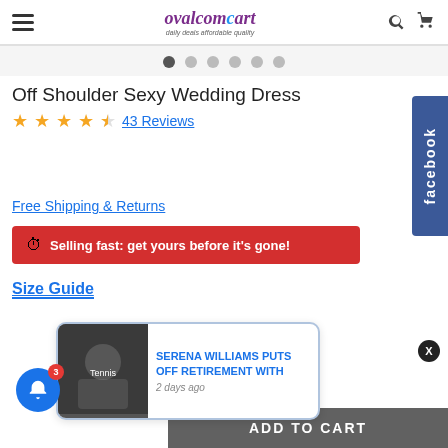ovalcomCart - daily deals affordable quality
[Figure (screenshot): Carousel dot navigation with 6 dots, first dot active]
Off Shoulder Sexy Wedding Dress
★★★★½ 43 Reviews
Free Shipping & Returns
🕐 Selling fast: get yours before it's gone!
Size Guide
SERENA WILLIAMS PUTS OFF RETIREMENT WITH
2 days ago
ADD TO CART